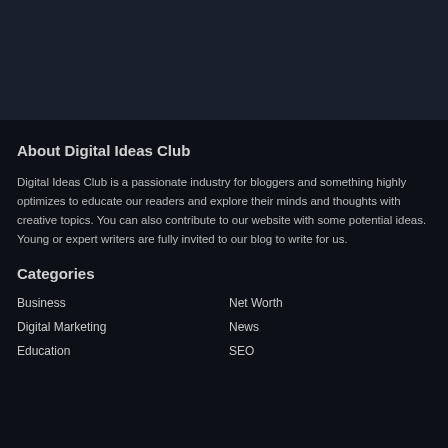[Figure (other): Dark banner/header image area at top of page]
About Digital Ideas Club
Digital Ideas Club is a passionate industry for bloggers and something highly optimizes to educate our readers and explore their minds and thoughts with creative topics. You can also contribute to our website with some potential ideas. Young or expert writers are fully invited to our blog to write for us.
Categories
Business
Net Worth
Digital Marketing
News
Education
SEO